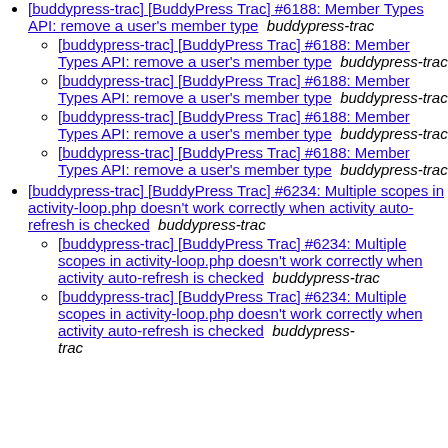[buddypress-trac] [BuddyPress Trac] #6188: Member Types API: remove a user's member type  buddypress-trac
[buddypress-trac] [BuddyPress Trac] #6188: Member Types API: remove a user's member type  buddypress-trac
[buddypress-trac] [BuddyPress Trac] #6188: Member Types API: remove a user's member type  buddypress-trac
[buddypress-trac] [BuddyPress Trac] #6188: Member Types API: remove a user's member type  buddypress-trac
[buddypress-trac] [BuddyPress Trac] #6188: Member Types API: remove a user's member type  buddypress-trac
[buddypress-trac] [BuddyPress Trac] #6234: Multiple scopes in activity-loop.php doesn't work correctly when activity auto-refresh is checked  buddypress-trac
[buddypress-trac] [BuddyPress Trac] #6234: Multiple scopes in activity-loop.php doesn't work correctly when activity auto-refresh is checked  buddypress-trac
[buddypress-trac] [BuddyPress Trac] #6234: Multiple scopes in activity-loop.php doesn't work correctly when activity auto-refresh is checked  buddypress-trac